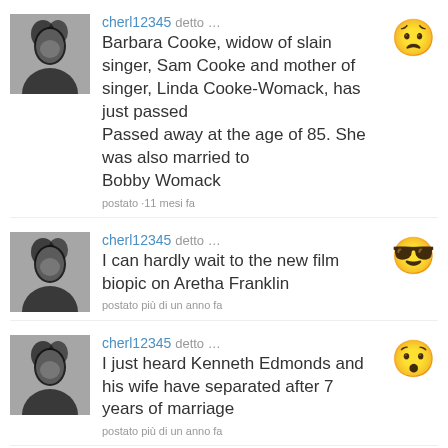cherl12345 detto … Barbara Cooke, widow of slain singer, Sam Cooke and mother of singer, Linda Cooke-Womack, has just passed Passed away at the age of 85. She was also married to Bobby Womack postato ·11 mesi fa
cherl12345 detto … I can hardly wait to the new film biopic on Aretha Franklin postato più di un anno fa
cherl12345 detto … I just heard Kenneth Edmonds and his wife have separated after 7 years of marriage postato più di un anno fa
cherl12345 detto …